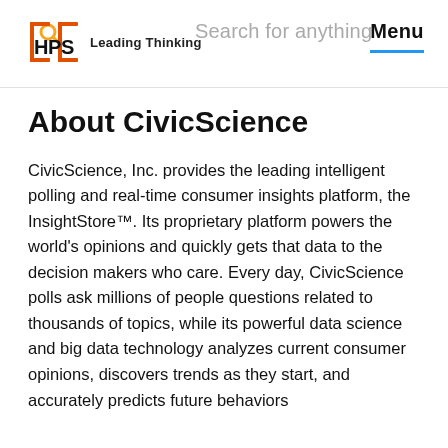[HPS] Leading Thinking | Search for anything | Menu
About CivicScience
CivicScience, Inc. provides the leading intelligent polling and real-time consumer insights platform, the InsightStore™. Its proprietary platform powers the world's opinions and quickly gets that data to the decision makers who care. Every day, CivicScience polls ask millions of people questions related to thousands of topics, while its powerful data science and big data technology analyzes current consumer opinions, discovers trends as they start, and accurately predicts future behaviors